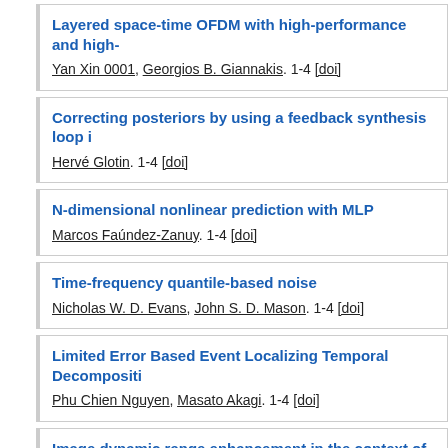Layered space-time OFDM with high-performance and high-... | Yan Xin 0001, Georgios B. Giannakis. 1-4 [doi]
Correcting posteriors by using a feedback synthesis loop i... | Hervé Glotin. 1-4 [doi]
N-dimensional nonlinear prediction with MLP | Marcos Faúndez-Zanuy. 1-4 [doi]
Time-frequency quantile-based noise | Nicholas W. D. Evans, John S. D. Mason. 1-4 [doi]
Limited Error Based Event Localizing Temporal Decompositi... | Phu Chien Nguyen, Masato Akagi. 1-4 [doi]
Image dynamic range enhancement in the context of logarit... | Vasile Patrascu, Vasile Buzuloiu. 1-4 [doi]